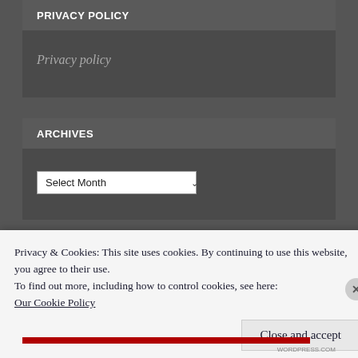PRIVACY POLICY
Privacy policy
ARCHIVES
Select Month
Privacy & Cookies: This site uses cookies. By continuing to use this website, you agree to their use.
To find out more, including how to control cookies, see here:
Our Cookie Policy
Close and accept